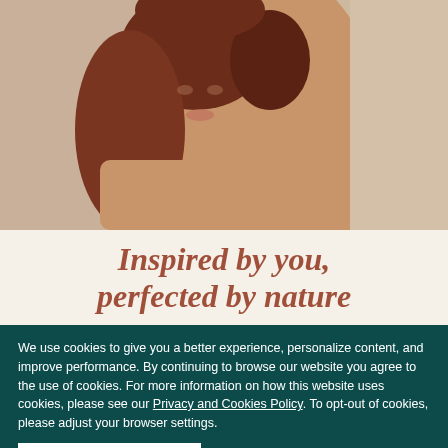[Figure (photo): A woman with reddish-brown hair raising her arm, showing smooth skin, photographed against a beige/taupe studio background. The photo is cropped to show her face, shoulder, and raised arm.]
Inspired by you, perfected by nature
We use cookies to give you a better experience, personalize content, and improve performance. By continuing to browse our website you agree to the use of cookies. For more information on how this website uses cookies, please see our Privacy and Cookies Policy. To opt-out of cookies, please adjust your browser settings.
OK